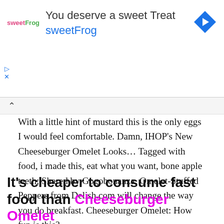[Figure (other): SweetFrog advertisement banner with logo, tagline 'You deserve a sweet Treat', brand name 'sweetFrog', and a blue diamond-shaped navigation arrow icon]
With a little hint of mustard this is the only eggs I would feel comfortable. Damn, IHOP's New Cheeseburger Omelet Looks... Tagged with food, i made this, eat what you want, bone apple teeth; Shared by Gogobonanza. Omelet-Stuffed Peppers from Delish.com will change the way you do breakfast. Cheeseburger Omelet: How fun is this?
It's cheaper to consume fast food than Cheeseburger Omelet